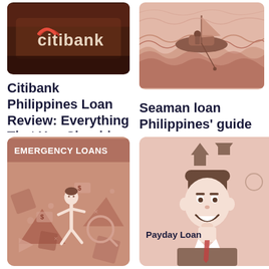[Figure (photo): Citibank signage photo with dark reddish-brown tones showing the Citibank logo]
Citibank Philippines Loan Review: Everything That You Should Know
[Figure (illustration): Illustration of a person on a boat fishing in stylized waves, muted pinkish-brown tones]
Seaman loan Philippines' guide
[Figure (illustration): Emergency Loans graphic with cartoon person surrounded by financial symbols, dark salmon background with EMERGENCY LOANS label]
[Figure (illustration): Payday Loan illustration showing a cartoon businessman with up/down arrows above, light pink background with Payday Loan label]